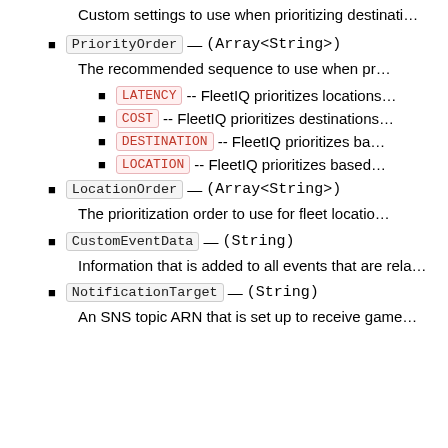Custom settings to use when prioritizing destinations…
PriorityOrder — (Array<String>)
The recommended sequence to use when pr…
LATENCY -- FleetIQ prioritizes locations…
COST -- FleetIQ prioritizes destinations…
DESTINATION -- FleetIQ prioritizes ba…
LOCATION -- FleetIQ prioritizes based…
LocationOrder — (Array<String>)
The prioritization order to use for fleet locatio…
CustomEventData — (String)
Information that is added to all events that are rela…
NotificationTarget — (String)
An SNS topic ARN that is set up to receive game…